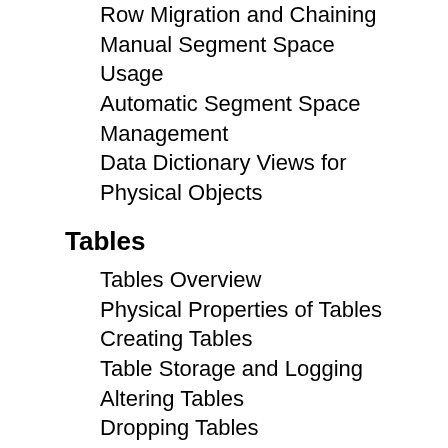Row Migration and Chaining
Manual Segment Space Usage
Automatic Segment Space Management
Data Dictionary Views for Physical Objects
Tables
Tables Overview
Physical Properties of Tables
Creating Tables
Table Storage and Logging
Altering Tables
Dropping Tables
The Recycle Bin
The TRUNCATE COMMAND
Temporary Tables
Clustered Tables
Indexed-Organized Tables
Creating an IOT
Data Dictionary Views for Tables